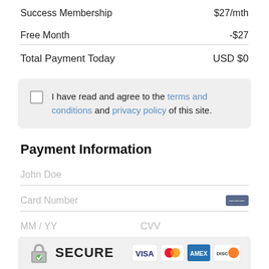Success Membership   $27/mth
Free Month   -$27
Total Payment Today   USD $0
I have read and agree to the terms and conditions and privacy policy of this site.
Payment Information
John Doe
Card Number
MM / YY
CVV
[Figure (infographic): Secure payment bar with padlock icon, SECURE text, and credit card logos: VISA, MasterCard, AMEX, DISCOVER]